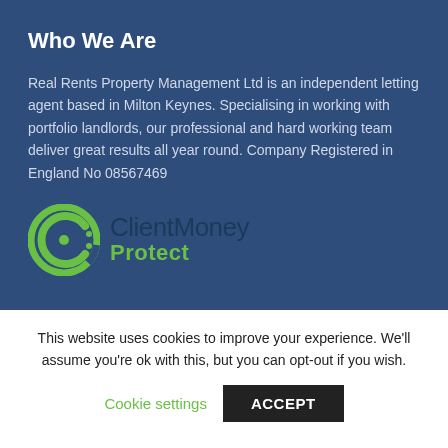Who We Are
Real Rents Property Management Ltd is an independent letting agent based in Milton Keynes. Specialising in working with portfolio landlords, our professional and hard working team deliver great results all year round. Company Registered in England No 08567469
[Figure (logo): ClientMoney Protect logo — circular green icon with stylised C and dot, next to text 'ClientMoney Protect' in dark and green]
This website uses cookies to improve your experience. We'll assume you're ok with this, but you can opt-out if you wish.
Cookie settings    ACCEPT